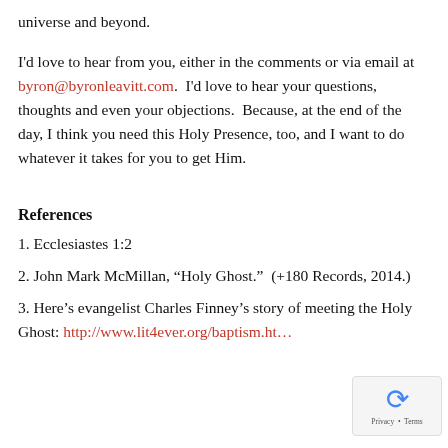universe and beyond.
I'd love to hear from you, either in the comments or via email at byron@byronleavitt.com.  I'd love to hear your questions, thoughts and even your objections.  Because, at the end of the day, I think you need this Holy Presence, too, and I want to do whatever it takes for you to get Him.
References
1. Ecclesiastes 1:2
2. John Mark McMillan, “Holy Ghost.”  (+180 Records, 2014.)
3. Here’s evangelist Charles Finney’s story of meeting the Holy Ghost: http://www.lit4ever.org/baptism.ht…